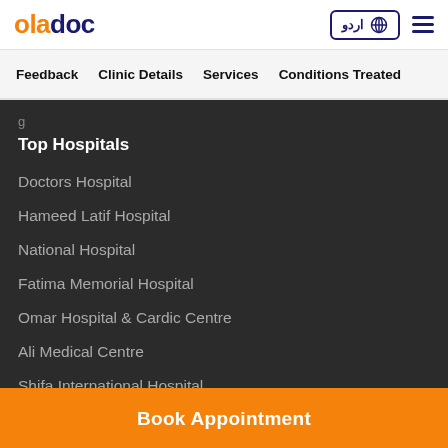oladoc
Feedback   Clinic Details   Services   Conditions Treated
Top Hospitals
Doctors Hospital
Hameed Latif Hospital
National Hospital
Fatima Memorial Hospital
Omar Hospital & Cardic Centre
Ali Medical Centre
Shifa International Hospital
Book Appointment